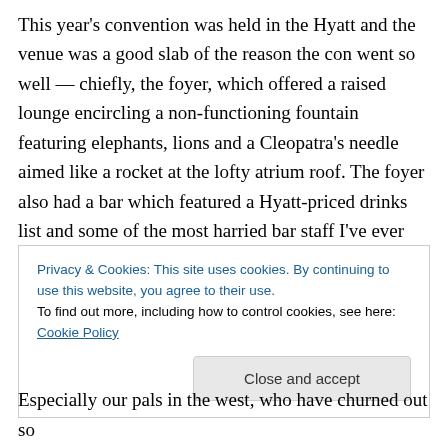This year's convention was held in the Hyatt and the venue was a good slab of the reason the con went so well — chiefly, the foyer, which offered a raised lounge encircling a non-functioning fountain featuring elephants, lions and a Cleopatra's needle aimed like a rocket at the lofty atrium roof. The foyer also had a bar which featured a Hyatt-priced drinks list and some of the most harried bar staff I've ever had the pleasure of waiting to be served by. Honestly, if you're a hotel hosting an SF convention, you need to heed the warnings about our thirst levels. Sure, some folks wander around dressed as giant chipmunks
Privacy & Cookies: This site uses cookies. By continuing to use this website, you agree to their use.
To find out more, including how to control cookies, see here: Cookie Policy
Especially our pals in the west, who have churned out so